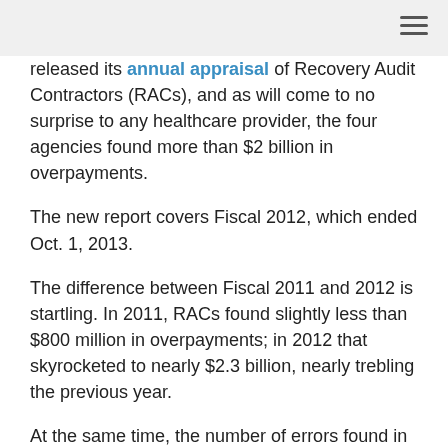released its annual appraisal of Recovery Audit Contractors (RACs), and as will come to no surprise to any healthcare provider, the four agencies found more than $2 billion in overpayments.
The new report covers Fiscal 2012, which ended Oct. 1, 2013.
The difference between Fiscal 2011 and 2012 is startling. In 2011, RACs found slightly less than $800 million in overpayments; in 2012 that skyrocketed to nearly $2.3 billion, nearly trebling the previous year.
At the same time, the number of errors found in favor of providers dropped precipitously, from $142 million in overpayments in 2011 to only $109 million in 2012.
The RACs increased focus on the lucrative Part A claims in 2012, and were rewarded handsomely for their efforts. In 2011 the agencies found overpayments in 174,284 claims, in dollar value representing 84 percent of all overpayments; in